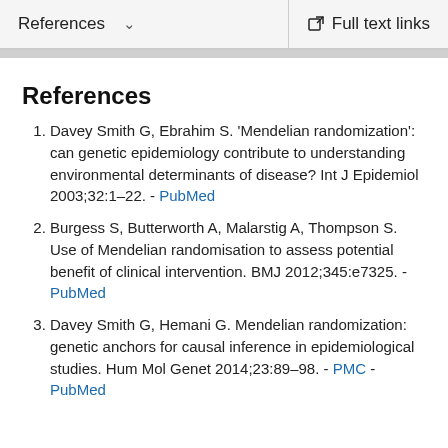References  ∨   Full text links
References
Davey Smith G, Ebrahim S. 'Mendelian randomization': can genetic epidemiology contribute to understanding environmental determinants of disease? Int J Epidemiol 2003;32:1–22. - PubMed
Burgess S, Butterworth A, Malarstig A, Thompson S. Use of Mendelian randomisation to assess potential benefit of clinical intervention. BMJ 2012;345:e7325. - PubMed
Davey Smith G, Hemani G. Mendelian randomization: genetic anchors for causal inference in epidemiological studies. Hum Mol Genet 2014;23:89–98. - PMC - PubMed